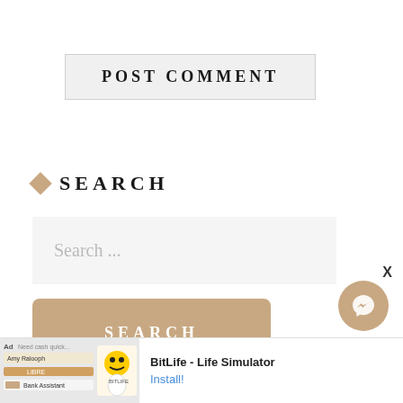POST COMMENT
SEARCH
Search ...
SEARCH
[Figure (screenshot): Mobile advertisement banner for BitLife - Life Simulator app with install button]
[Figure (other): Messenger chat bubble icon button (tan/beige) with X close button]